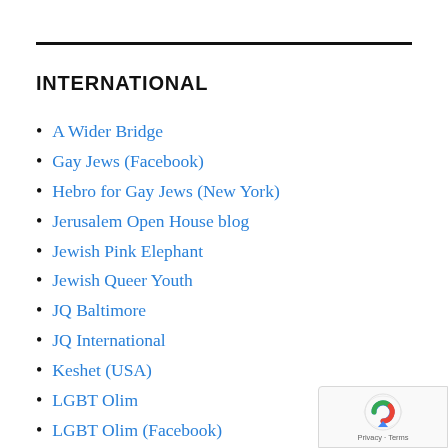INTERNATIONAL
A Wider Bridge
Gay Jews (Facebook)
Hebro for Gay Jews (New York)
Jerusalem Open House blog
Jewish Pink Elephant
Jewish Queer Youth
JQ Baltimore
JQ International
Keshet (USA)
LGBT Olim
LGBT Olim (Facebook)
Rainbow Jews